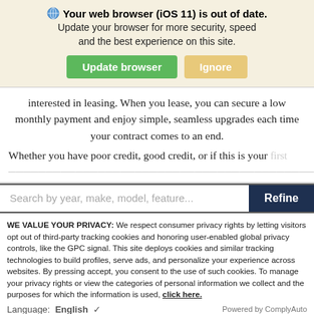Your web browser (iOS 11) is out of date. Update your browser for more security, speed and the best experience on this site.
Update browser | Ignore
interested in leasing. When you lease, you can secure a low monthly payment and enjoy simple, seamless upgrades each time your contract comes to an end.
Whether you have poor credit, good credit, or if this is your first...
Search by year, make, model, feature... Refine
WE VALUE YOUR PRIVACY: We respect consumer privacy rights by letting visitors opt out of third-party tracking cookies and honoring user-enabled global privacy controls, like the GPC signal. This site deploys cookies and similar tracking technologies to build profiles, serve ads, and personalize your experience across websites. By pressing accept, you consent to the use of such cookies. To manage your privacy rights or view the categories of personal information we collect and the purposes for which the information is used, click here.
Language: English ∨ Powered by ComplyAuto
Accept and Continue → | Privacy Policy | ×